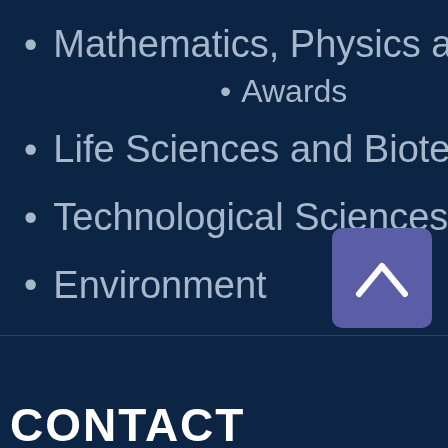Mathematics, Physics an
Awards
Life Sciences and Biotech
Technological Sciences
Environment
CONTACT